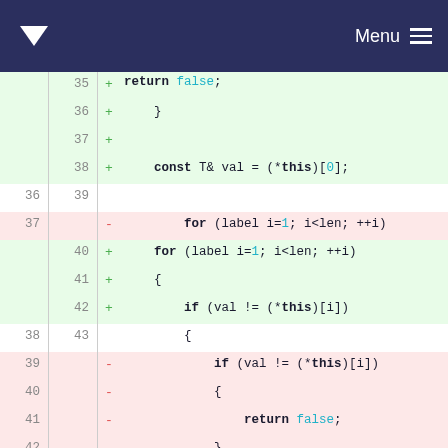Menu
[Figure (screenshot): Code diff view showing changes to a C++ function. Lines 36-48 shown with additions (green) and deletions (red). Code includes for loop, if statement, and return statements with false/true values.]